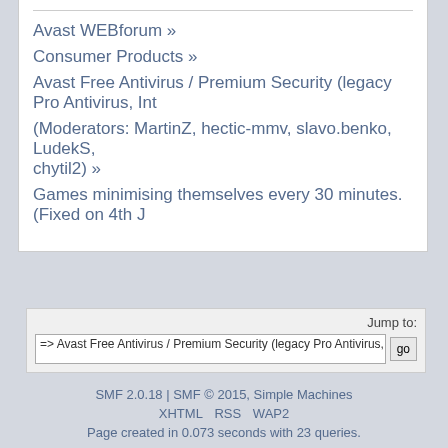Avast WEBforum »
Consumer Products »
Avast Free Antivirus / Premium Security (legacy Pro Antivirus, Int
(Moderators: MartinZ, hectic-mmv, slavo.benko, LudekS, chytil2) »
Games minimising themselves every 30 minutes. (Fixed on 4th J
Jump to: => Avast Free Antivirus / Premium Security (legacy Pro Antivirus, Internet Secur  go
SMF 2.0.18 | SMF © 2015, Simple Machines
XHTML RSS WAP2
Page created in 0.073 seconds with 23 queries.